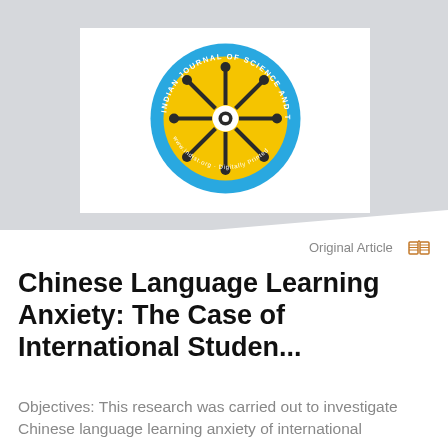[Figure (logo): Indian Journal of Science and Technology circular logo with gear/wheel design in yellow and blue with text around the border]
Original Article
Chinese Language Learning Anxiety: The Case of International Studen...
Objectives: This research was carried out to investigate Chinese language learning anxiety of international